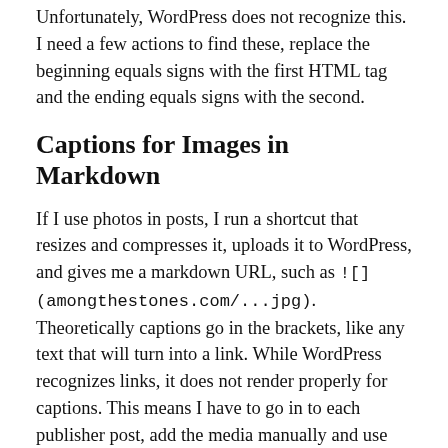Unfortunately, WordPress does not recognize this. I need a few actions to find these, replace the beginning equals signs with the first HTML tag and the ending equals signs with the second.
Captions for Images in Markdown
If I use photos in posts, I run a shortcut that resizes and compresses it, uploads it to WordPress, and gives me a markdown URL, such as ![] (amongthestones.com/...jpg). Theoretically captions go in the brackets, like any text that will turn into a link. While WordPress recognizes links, it does not render properly for captions. This means I have to go in to each publisher post, add the media manually and use HTML if I want to link to an image source that isn't mine in the captions text box in the media library. It takes time and can be cumbersome from a phone or tablet, which is where I write.